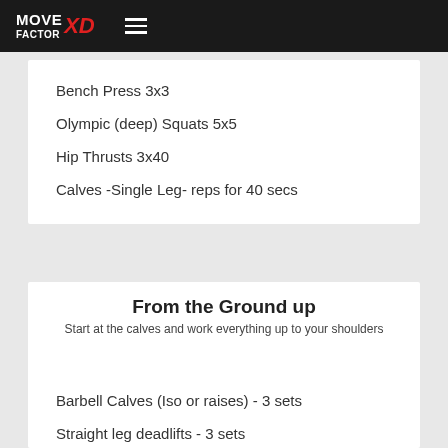MOVE FACTOR XD
Bench Press 3x3
Olympic (deep) Squats 5x5
Hip Thrusts 3x40
Calves -Single Leg- reps for 40 secs
From the Ground up
Start at the calves and work everything up to your shoulders
Barbell Calves (Iso or raises) - 3 sets
Straight leg deadlifts - 3 sets
Squats (start/finish low on rack) - 3 sets